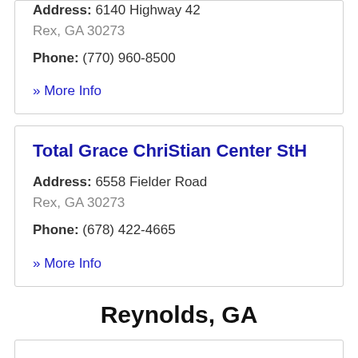Address: 6140 Highway 42
Rex, GA 30273
Phone: (770) 960-8500
» More Info
Total Grace ChriStian Center StH
Address: 6558 Fielder Road
Rex, GA 30273
Phone: (678) 422-4665
» More Info
Reynolds, GA